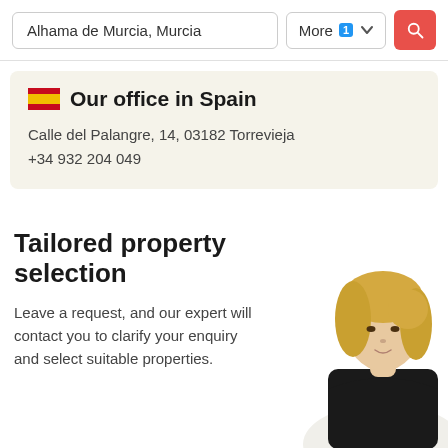Alhama de Murcia, Murcia | More 1 [search button]
Our office in Spain
Calle del Palangre, 14, 03182 Torrevieja
+34 932 204 049
Tailored property selection
Leave a request, and our expert will contact you to clarify your enquiry and select suitable properties.
[Figure (photo): Photo of a blonde woman in a black top, used to illustrate a property expert/advisor]